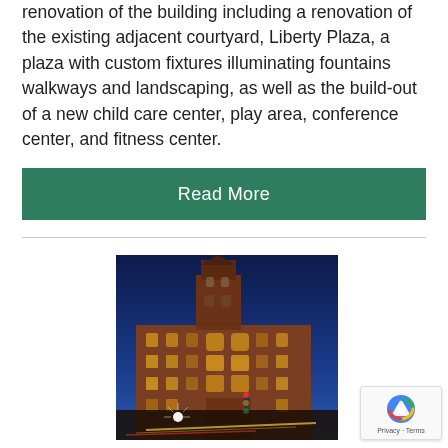renovation of the building including a renovation of the existing adjacent courtyard, Liberty Plaza, a plaza with custom fixtures illuminating fountains walkways and landscaping, as well as the build-out of a new child care center, play area, conference center, and fitness center.
Read More
[Figure (photo): Nighttime exterior photo of a historic red brick building with a tall clock tower, illuminated warm lights on the facade, blue sky background, street level with light trails from passing traffic.]